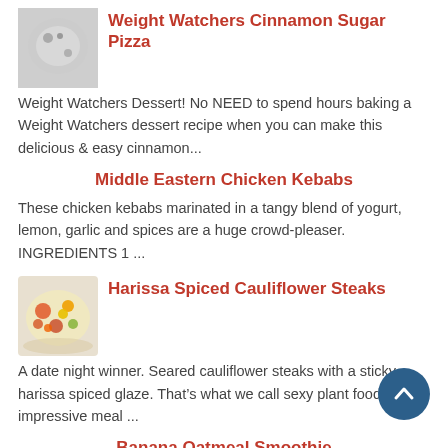[Figure (photo): Thumbnail image of cinnamon sugar pizza, partially visible, grayscale/faded]
Weight Watchers Cinnamon Sugar Pizza
Weight Watchers Dessert! No NEED to spend hours baking a Weight Watchers dessert recipe when you can make this delicious & easy cinnamon...
Middle Eastern Chicken Kebabs
These chicken kebabs marinated in a tangy blend of yogurt, lemon, garlic and spices are a huge crowd-pleaser. INGREDIENTS 1 ...
[Figure (photo): Thumbnail image of harissa spiced cauliflower steaks with colorful spices]
Harissa Spiced Cauliflower Steaks
A date night winner. Seared cauliflower steaks with a sticky, harissa spiced glaze. That’s what we call sexy plant food. An impressive meal ...
Banana Oatmeal Smoothie
Almonds, oatmeal, bananas and yogurt meet up in